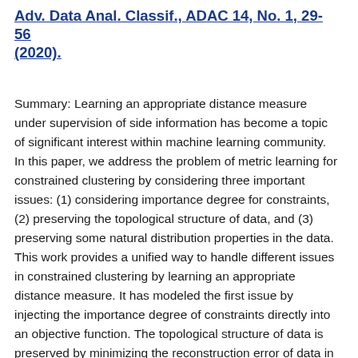Adv. Data Anal. Classif., ADAC 14, No. 1, 29-56 (2020).
Summary: Learning an appropriate distance measure under supervision of side information has become a topic of significant interest within machine learning community. In this paper, we address the problem of metric learning for constrained clustering by considering three important issues: (1) considering importance degree for constraints, (2) preserving the topological structure of data, and (3) preserving some natural distribution properties in the data. This work provides a unified way to handle different issues in constrained clustering by learning an appropriate distance measure. It has modeled the first issue by injecting the importance degree of constraints directly into an objective function. The topological structure of data is preserved by minimizing the reconstruction error of data in the target space. Finally we addressed the issue of